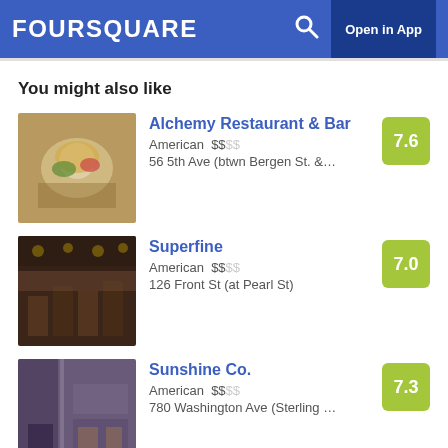FOURSQUARE  Open in App
You might also like
Alchemy Restaurant & Bar
American  $$$$
56 5th Ave (btwn Bergen St. &...
Score: 7.6
Superfine
American  $$$$
126 Front St (at Pearl St)
Score: 7.0
Sunshine Co.
American  $$$$
780 Washington Ave (Sterling ...
Score: 7.3
Related Searches
purbird brooklyn • purbird brooklyn photos • purbird brooklyn location • purbird brooklyn address • purbird brooklyn • purbird brooklyn • purebird brooklyn • pūrbird brooklyn • purbird north slope brooklyn